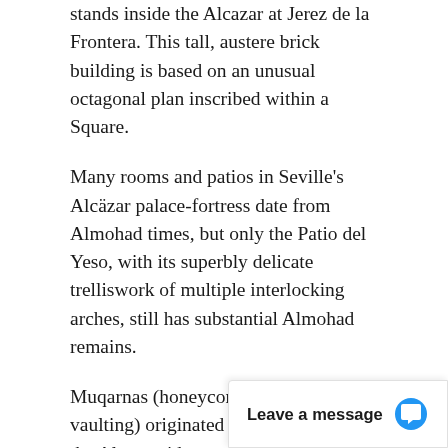stands inside the Alcazar at Jerez de la Frontera. This tall, austere brick building is based on an unusual octagonal plan inscribed within a Square.
Many rooms and patios in Seville's Alcäzar palace-fortress date from Almohad times, but only the Patio del Yeso, with its superbly delicate trelliswork of multiple interlocking arches, still has substantial Almohad remains.
Muqarnas (honeycomb or stalactite vaulting) originated in Syria or Iran: the Almoravid mosque at Tlemcen, Morocco, was the first western Islamic building to feature it.
The Nasrids